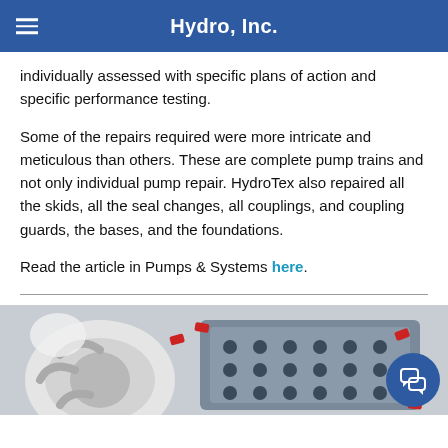Hydro, Inc.
individually assessed with specific plans of action and specific performance testing.
Some of the repairs required were more intricate and meticulous than others. These are complete pump trains and not only individual pump repair. HydroTex also repaired all the skids, all the seal changes, all couplings, and coupling guards, the bases, and the foundations.
Read the article in Pumps & Systems here.
[Figure (photo): Photo of pump components including what appears to be an impeller and a pump casing/head with bolt holes, in a shop or repair facility setting.]